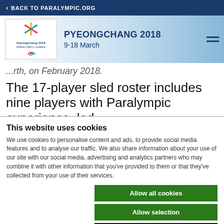< BACK TO PARALYMPIC.ORG
[Figure (logo): PyeongChang 2018 Paralympic Games logo with colorful star/snowflake emblem and IPC agitos symbol]
PYEONGCHANG 2018
9-18 March
...rth, on February 2018.
The 17-player sled roster includes nine players with Paralympic experience, led
This website uses cookies
We use cookies to personalise content and ads, to provide social media features and to analyse our traffic. We also share information about your use of our site with our social media, advertising and analytics partners who may combine it with other information that you've provided to them or that they've collected from your use of their services.
Allow all cookies
Allow selection
Use necessary cookies only
Necessary  Preferences  Statistics  Marketing  Show details